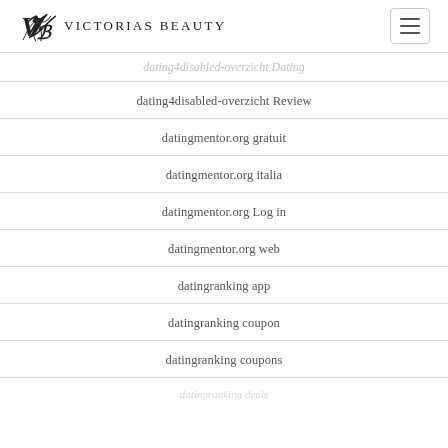Victorias Beauty
dating4disabled-overzicht Dating
dating4disabled-overzicht Review
datingmentor.org gratuit
datingmentor.org italia
datingmentor.org Log in
datingmentor.org web
datingranking app
datingranking coupon
datingranking coupons
datingranking deals